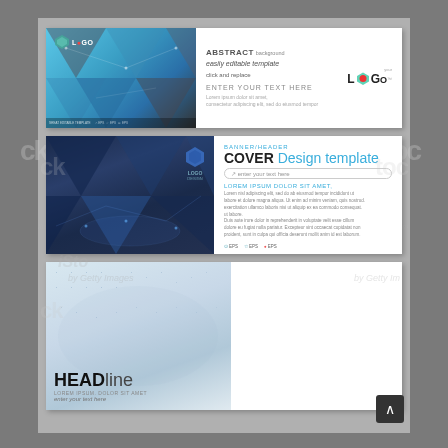[Figure (illustration): Stock image preview showing three banner/header design templates on a gray background with watermarks. Top banner: abstract blue geometric background with LOGO badge and text 'ABSTRACT background easily editable template click and replace ENTER YOUR TEXT HERE Lorem ipsum dolor sit amet'. Middle banner: dark blue geometric background with 'LOGO DESIGN', text 'BANNER/HEADER COVER Design template enter your text here', lorem ipsum body text. Bottom section: left half shows 'HEADline Lorem Ipsum. Dolor Sit Amet enter your text here' on light background with world map; right half shows 'EASILY EDITABLE TEMPLATE' with blue geometric triangles and LOGO badge. A dark scroll-to-top button appears bottom-right.]